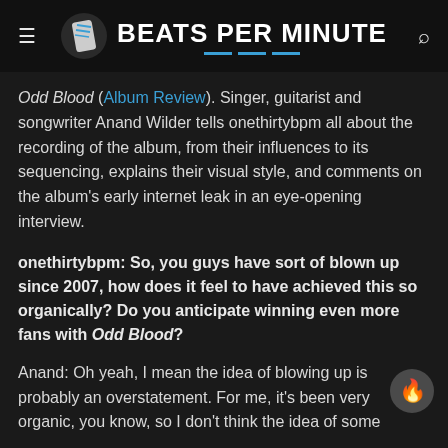BEATS PER MINUTE
Odd Blood (Album Review). Singer, guitarist and songwriter Anand Wilder tells onethirtybpm all about the recording of the album, from their influences to its sequencing, explains their visual style, and comments on the album's early internet leak in an eye-opening interview.
onethirtybpm: So, you guys have sort of blown up since 2007, how does it feel to have achieved this so organically? Do you anticipate winning even more fans with Odd Blood?
Anand: Oh yeah, I mean the idea of blowing up is probably an overstatement. For me, it's been very organic, you know, so I don't think the idea of some